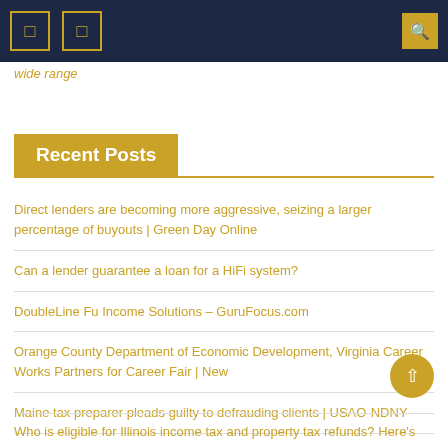Navigation bar with icons and search
wide range
Recent Posts
Direct lenders are becoming more aggressive, seizing a larger percentage of buyouts | Green Day Online
Can a lender guarantee a loan for a HiFi system?
DoubleLine Fu Income Solutions – GuruFocus.com
Orange County Department of Economic Development, Virginia Career Works Partners for Career Fair | New
Maine tax preparer pleads guilty to defrauding clients | USAO-NDNY
Toxic chemicals 'forever' found in dollar store items: report
Who is eligible for Illinois income tax and property tax refunds? Here's